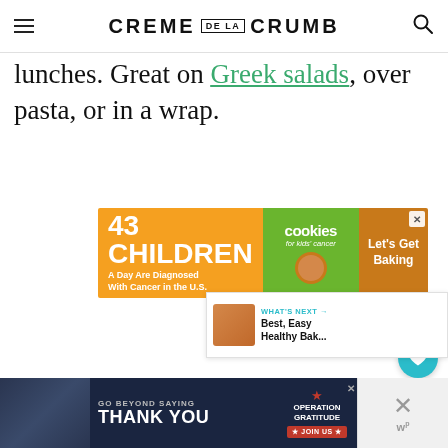CREME DE LA CRUMB
lunches. Great on Greek salads, over pasta, or in a wrap.
[Figure (infographic): Advertisement banner: '43 CHILDREN A Day Are Diagnosed With Cancer in the U.S.' with cookies for kids' cancer logo and 'Let's Get Baking' call to action]
[Figure (infographic): Floating heart/favorite button (teal circle with heart icon) and share button (white circle with share icon)]
[Figure (infographic): What's Next panel with thumbnail image and text: 'WHAT'S NEXT → Best, Easy Healthy Bak...']
[Figure (infographic): Bottom advertisement banner: 'GO BEYOND SAYING THANK YOU' Operation Gratitude JOIN US, with a photo of people and military theme]